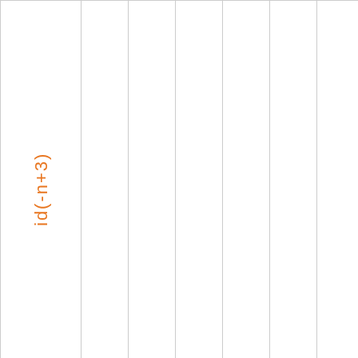|  | col1 | col2 | col3 | col4 | col5 | col6 | col7 |
| --- | --- | --- | --- | --- | --- | --- | --- |
| id(-n+3) |  |  |  |  |  |  |  |
| :nth-child | ✓ |  | ✓ |  | ✓ |  | ✓ |  | ✓ |